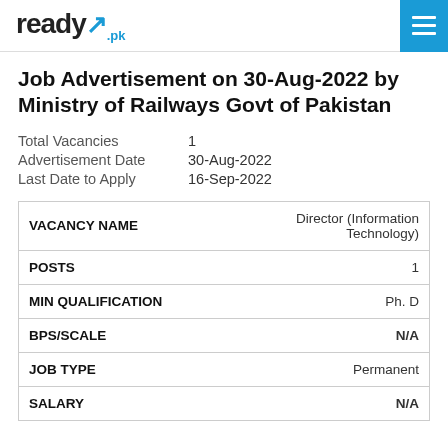ready.pk
Job Advertisement on 30-Aug-2022 by Ministry of Railways Govt of Pakistan
Total Vacancies   1
Advertisement Date  30-Aug-2022
Last Date to Apply  16-Sep-2022
| Field | Value |
| --- | --- |
| VACANCY NAME | Director (Information Technology) |
| POSTS | 1 |
| MIN QUALIFICATION | Ph. D |
| BPS/SCALE | N/A |
| JOB TYPE | Permanent |
| SALARY | N/A |